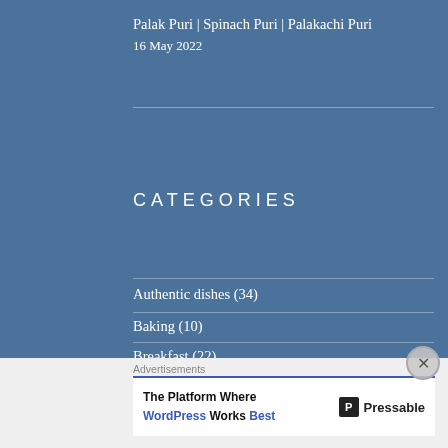Palak Puri | Spinach Puri | Palakachi Puri
16 May 2022
CATEGORIES
Authentic dishes (34)
Baking (10)
Breakfast (22)
Christmas Special (5)
Chutney's (3)
Advertisements
The Platform Where WordPress Works Best  Pressable